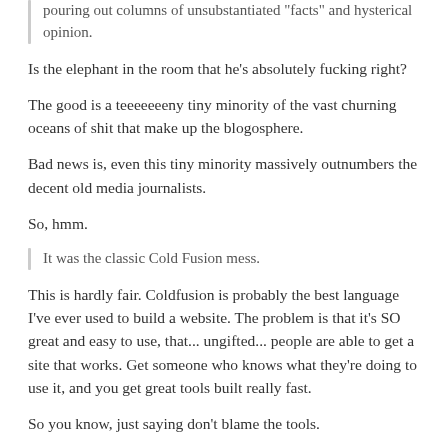pouring out columns of unsubstantiated "facts" and hysterical opinion.
Is the elephant in the room that he's absolutely fucking right?
The good is a teeeeeeeny tiny minority of the vast churning oceans of shit that make up the blogosphere.
Bad news is, even this tiny minority massively outnumbers the decent old media journalists.
So, hmm.
It was the classic Cold Fusion mess.
This is hardly fair. Coldfusion is probably the best language I've ever used to build a website. The problem is that it's SO great and easy to use, that... ungifted... people are able to get a site that works. Get someone who knows what they're doing to use it, and you get great tools built really fast.
So you know, just saying don't blame the tools.
Auckland CBD • Since Nov 2006 • 314 posts